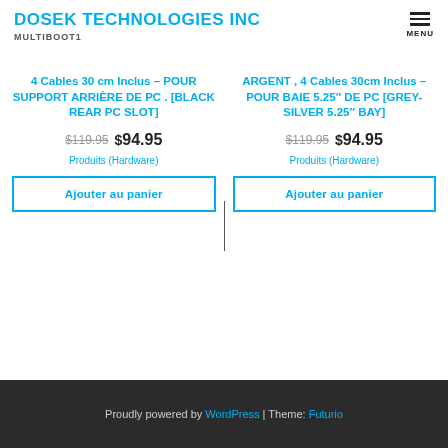DOSEK TECHNOLOGIES INC MULTIBOOT1 MENU
4 Cables 30 cm Inclus – POUR SUPPORT ARRIÈRE DE PC . [BLACK REAR PC SLOT]
$119.95 $94.95
Produits (Hardware)
Ajouter au panier
ARGENT , 4 Cables 30cm Inclus – POUR BAIE 5.25″ DE PC [GREY-SILVER 5.25″ BAY]
$119.95 $94.95
Produits (Hardware)
Ajouter au panier
Proudly powered by WordPress | Theme: Futurio